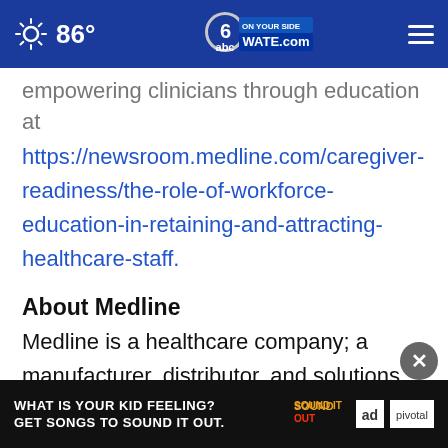86° WATE.com
empowering clinicians through education at https://newsroom.medline.com/caregiver-readiness/the-role-of-workforce-education-in-retaining-and-attracting-healthcare-staff.
About Medline
Medline is a healthcare company; a manufacturer, distributor, and solutions provider focused on improving the overall operating performance of healthcare.
Partn... facili... line